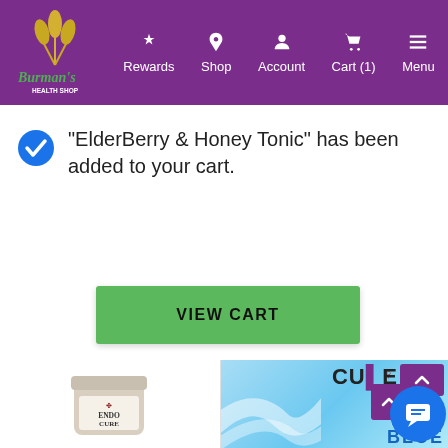[Figure (screenshot): Burman's Health Shop navigation bar with logo, Rewards, Shop, Account, Cart (1), and Menu items on purple background]
“ElderBerry & Honey Tonic” has been added to your cart.
VIEW CART
[Figure (photo): Partial product image: Endo Cure supplement jar]
[Figure (photo): Partial product image: CURE Delta Cartridge Blue product packaging in blue tones]